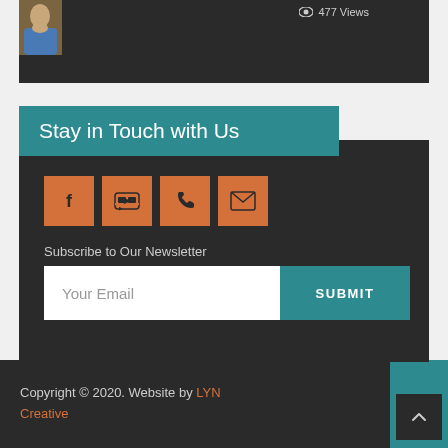[Figure (photo): Partial view of a couple photo thumbnail with dark background card, showing 477 Views text]
Stay in Touch with Us
[Figure (infographic): Social media icons row: Facebook, YouTube, Phone, Email — orange square buttons]
Subscribe to Our Newsletter
Your Email  SUBMIT
Copyright © 2020. Website by LYN Creative